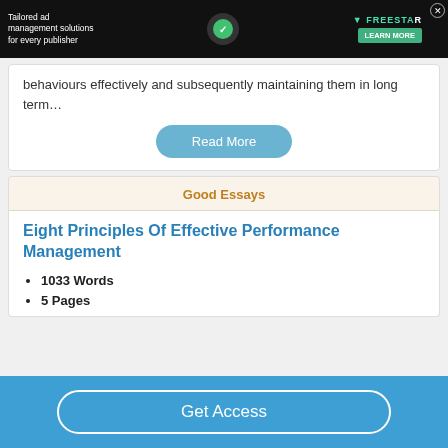[Figure (screenshot): Dark advertisement banner for Freestar ad management solutions for publishers]
behaviours effectively and subsequently maintaining them in long term…
Read More
Good Essays
Eight Principles Of Effective Performance Management
1033 Words
5 Pages
Get Access